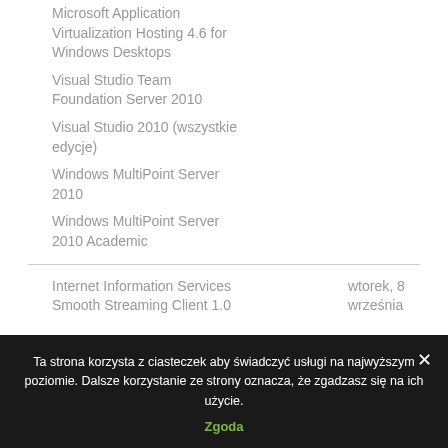Microsoft Application Virtualization Hosting 4.6 for Windows Desktops
Visual Studio Team Foundation Server 2010
Visual Studio 2010 (wszystkie edycje)
Windows MultiPoint Server 2010
Windows MultiPoint Server 2010 Academic
Internet Information Services Smooth Streaming Client 1.0
wtorek, 8 września
Ta strona korzysta z ciasteczek aby świadczyć usługi na najwyższym poziomie. Dalsze korzystanie ze strony oznacza, że zgadzasz się na ich użycie.
Zgoda